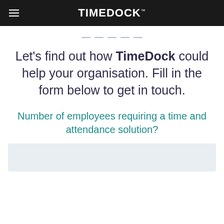TIMEDOCK
Let's find out how TimeDock could help your organisation. Fill in the form below to get in touch.
Number of employees requiring a time and attendance solution?